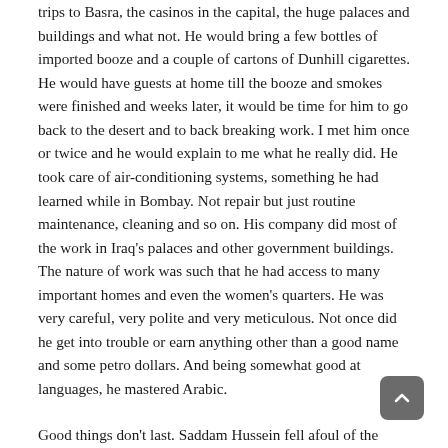trips to Basra, the casinos in the capital, the huge palaces and buildings and what not. He would bring a few bottles of imported booze and a couple of cartons of Dunhill cigarettes. He would have guests at home till the booze and smokes were finished and weeks later, it would be time for him to go back to the desert and to back breaking work. I met him once or twice and he would explain to me what he really did. He took care of air-conditioning systems, something he had learned while in Bombay. Not repair but just routine maintenance, cleaning and so on. His company did most of the work in Iraq's palaces and other government buildings. The nature of work was such that he had access to many important homes and even the women's quarters. He was very careful, very polite and very meticulous. Not once did he get into trouble or earn anything other than a good name and some petro dollars. And being somewhat good at languages, he mastered Arabic.
Good things don't last. Saddam Hussein fell afoul of the West after he decided to conquer Kuwait. Mohan continued